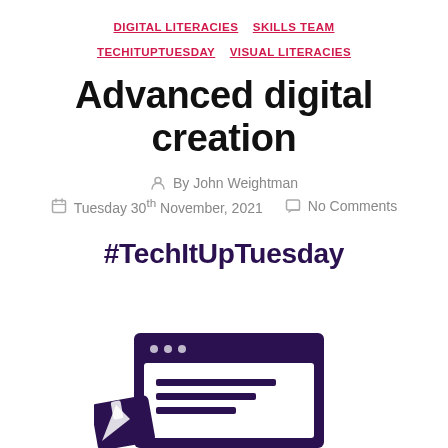DIGITAL LITERACIES  SKILLS TEAM  TECHITUPTUESDAY  VISUAL LITERACIES
Advanced digital creation
By John Weightman
Tuesday 30th November, 2021   No Comments
#TechItUpTuesday
[Figure (illustration): Purple icon illustration showing a browser/web creation window with a pen/edit tool icon on the left and a content editing panel on the right, styled in dark purple.]